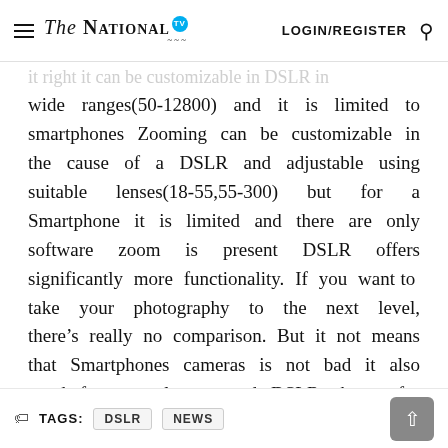The National LOGIN/REGISTER
wide ranges(50-12800) and it is limited to smartphones Zooming can be customizable in the cause of a DSLR and adjustable using suitable lenses(18-55,55-300) but for a Smartphone it is limited and there are only software zoom is present DSLR offers significantly more functionality. If you want to take your photography to the next level, there’s really no comparison. But it not means that Smartphones cameras is not bad it also good for normal uses and DSLRs better for professional uses
TAGS: DSLR NEWS